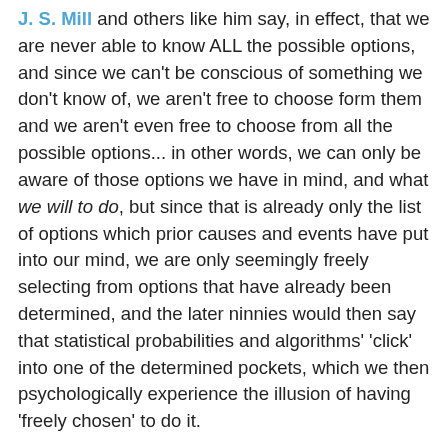J. S. Mill and others like him say, in effect, that we are never able to know ALL the possible options, and since we can't be conscious of something we don't know of, we aren't free to choose form them and we aren't even free to choose from all the possible options... in other words, we can only be aware of those options we have in mind, and what we will to do, but since that is already only the list of options which prior causes and events have put into our mind, we are only seemingly freely selecting from options that have already been determined, and the later ninnies would then say that statistical probabilities and algorithms' 'click' into one of the determined pockets, which we then psychologically experience the illusion of having 'freely chosen' to do it.
Not having omnipotent awareness of options, not having every possible option at hand to choose from, is hardly a criticism of choosing one of the options you have considered of your own volition. Of course the options I do consider are derived from knowledge, experience, desires and emotions and quite possibly highlighted by events in your environment, but having a known origination of, or a motive for, a choice, doesn't determine my choice, there is nothing in having